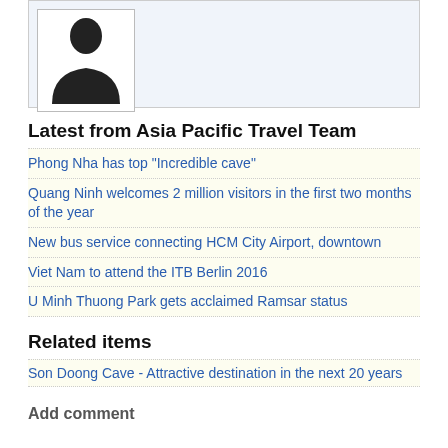[Figure (illustration): Generic person silhouette placeholder image in a bordered box with light blue background]
Latest from Asia Pacific Travel Team
Phong Nha has top "Incredible cave"
Quang Ninh welcomes 2 million visitors in the first two months of the year
New bus service connecting HCM City Airport, downtown
Viet Nam to attend the ITB Berlin 2016
U Minh Thuong Park gets acclaimed Ramsar status
Related items
Son Doong Cave - Attractive destination in the next 20 years
Add comment